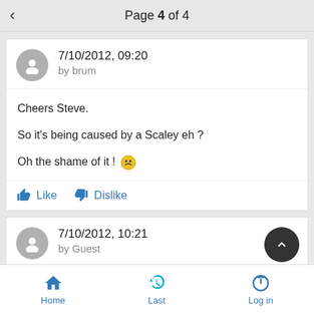Page 4 of 4
7/10/2012, 09:20
by brum
Cheers Steve.

So it's being caused by a Scaley eh ?

Oh the shame of it !
Like   Dislike
7/10/2012, 10:21
by Guest
Home   Last   Log in